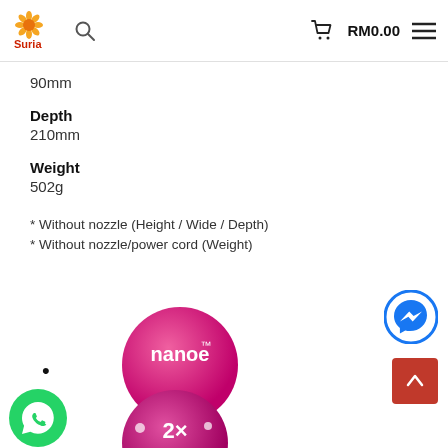Suria | RM0.00
90mm
Depth
210mm
Weight
502g
* Without nozzle (Height / Wide / Depth)
* Without nozzle/power cord (Weight)
[Figure (logo): nanoe™ pink bubble logo]
[Figure (logo): 2x Mineral pink bubble logo]
[Figure (logo): Facebook Messenger blue circle button]
[Figure (logo): WhatsApp green circle button]
[Figure (other): Scroll to top red button with up arrow]